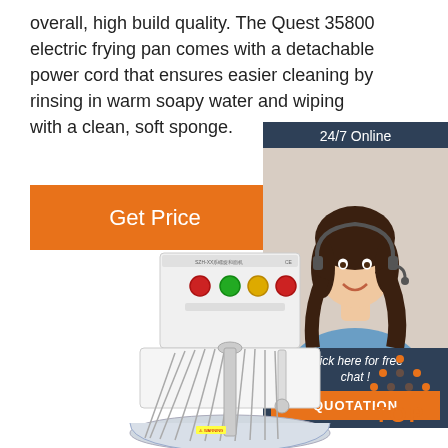overall, high build quality. The Quest 35800 electric frying pan comes with a detachable power cord that ensures easier cleaning by rinsing in warm soapy water and wiping with a clean, soft sponge.
[Figure (other): Orange 'Get Price' button]
[Figure (other): 24/7 Online chat widget with customer service agent photo, 'Click here for free chat!' text, and orange QUOTATION button]
[Figure (photo): Commercial spiral dough mixer machine (white) with control panel showing red, green, and yellow buttons]
[Figure (other): Orange TOP badge/logo with triangle of dots above the word TOP]